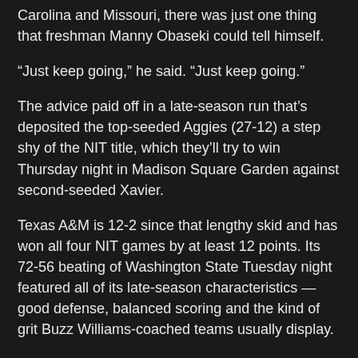Carolina and Missouri, there was just one thing that freshman Manny Obaseki could tell himself.
“Just keep going,” he said. “Just keep going.”
The advice paid off in a late-season run that’s deposited the top-seeded Aggies (27-12) a step shy of the NIT title, which they’ll try to win Thursday night in Madison Square Garden against second-seeded Xavier.
Texas A&M is 12-2 since that lengthy skid and has won all four NIT games by at least 12 points. Its 72-56 beating of Washington State Tuesday night featured all of its late-season characteristics — good defense, balanced scoring and the kind of grit Buzz Williams-coached teams usually display.